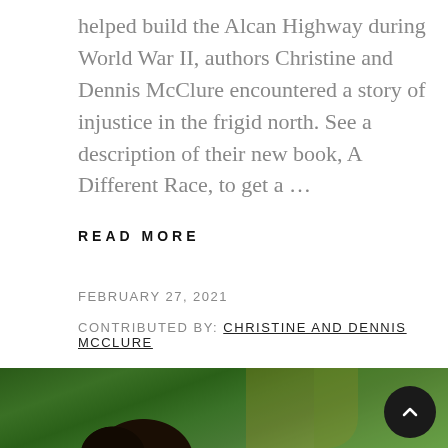helped build the Alcan Highway during World War II, authors Christine and Dennis McClure encountered a story of injustice in the frigid north. See a description of their new book, A Different Race, to get a ...
READ MORE
FEBRUARY 27, 2021
CONTRIBUTED BY: CHRISTINE AND DENNIS MCCLURE
[Figure (photo): A person with dark curly hair seen from the side/front, with green tropical foliage (palm trees) in the background. A dark circular scroll-to-top button with an upward chevron is visible in the lower right corner.]